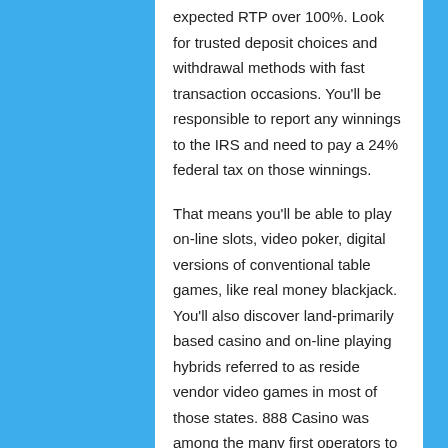expected RTP over 100%. Look for trusted deposit choices and withdrawal methods with fast transaction occasions. You'll be responsible to report any winnings to the IRS and need to pay a 24% federal tax on those winnings.
That means you'll be able to play on-line slots, video poker, digital versions of conventional table games, like real money blackjack. You'll also discover land-primarily based casino and on-line playing hybrids referred to as reside vendor video games in most of those states. 888 Casino was among the many first operators to offer real cash online on line casino video games to gamers located in New Jersey when the market first opened up again in November 2013.